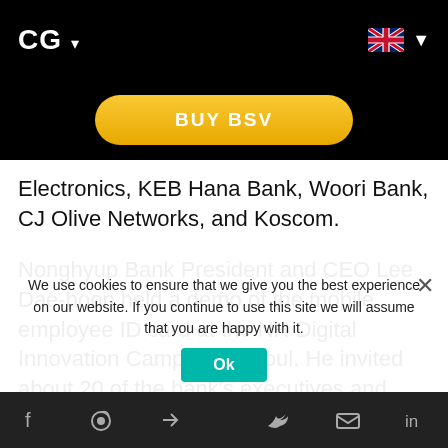CG ▾
[Figure (other): BUY BSV button - gold/yellow pill-shaped button]
Electronics, KEB Hana Bank, Woori Bank, CJ Olive Networks, and Koscom.
Nonghyup Bank President and CEO Lee Dae-hoon held a demo of the mobile employee ID card at the NH Digital Innovation Campus in Seoul. He invited about 20 of the bank's executives and employees for the demo. During the demo, 20 Nonghyup employees applied for and received a virtual ID card through their mobile phone. Later, they used the app to access their office.
We use cookies to ensure that we give you the best experience on our website. If you continue to use this site we will assume that you are happy with it.